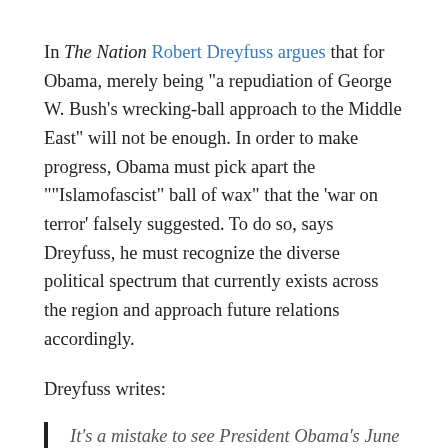In The Nation Robert Dreyfuss argues that for Obama, merely being "a repudiation of George W. Bush's wrecking-ball approach to the Middle East" will not be enough. In order to make progress, Obama must pick apart the "'Islamofascist' ball of wax" that the 'war on terror' falsely suggested. To do so, says Dreyfuss, he must recognize the diverse political spectrum that currently exists across the region and approach future relations accordingly.
Dreyfuss writes:
It's a mistake to see President Obama's June 4 speech in Cairo merely as a repudiation of George W. Bush's wrecking-ball approach to the Middle East...